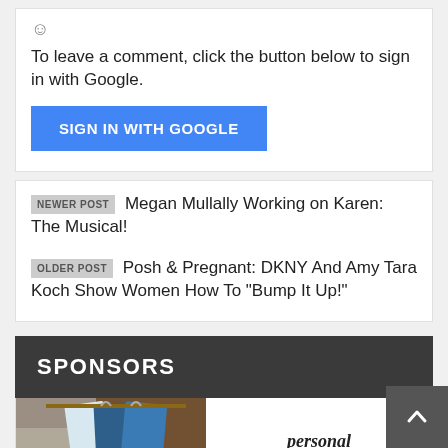To leave a comment, click the button below to sign in with Google.
SIGN IN WITH GOOGLE
NEWER POST Megan Mullally Working on Karen: The Musical!
OLDER POST Posh & Pregnant: DKNY And Amy Tara Koch Show Women How To "Bump It Up!"
SPONSORS
personal shopper